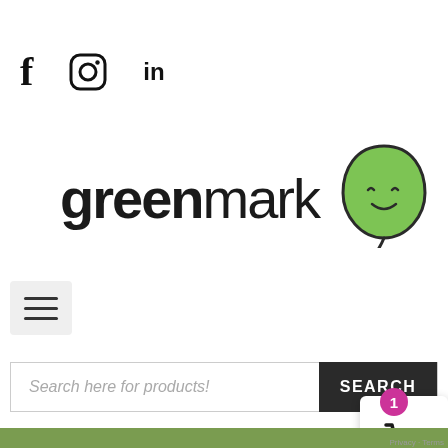[Figure (logo): Social media icons: Facebook (f), Instagram (circle camera), LinkedIn (in)]
[Figure (logo): Greenmark logo with bold 'greenmark' text and a green leaf mascot with closed eyes and a smile]
[Figure (other): Hamburger menu button (three horizontal lines) on a light gray background]
Search here for products!
SEARCH
[Figure (other): Shopping basket cart icon with magenta badge showing number 1]